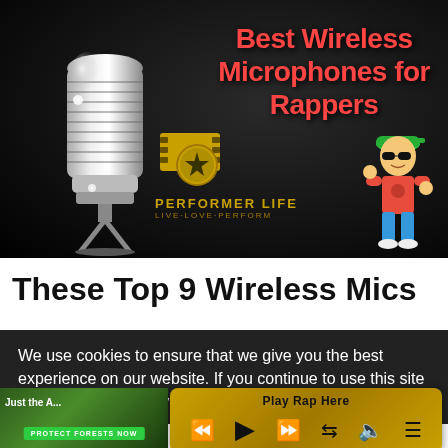[Figure (illustration): Hero banner image with a silver vintage microphone on the left, bold red text 'Best Wireless Microphones for Rappers' on a dark background, a film reel logo with 'PERFORMER LIFE / LIVE·LOVE·PERFORM' in gold, and a cartoon rapper character on the right.]
These Top 9 Wireless Mics
We use cookies to ensure that we give you the best experience on our website. If you continue to use this site we will assume that you
[Figure (screenshot): A media player bar with golden background showing 'Play Rap Here' label and playback controls: rewind, play, fast-forward, shuffle, volume, and playlist icons.]
[Figure (photo): A small image of a forest/nature scene with text 'Just ... the A...' and a green 'PROTECT FORESTS NOW' button at the bottom.]